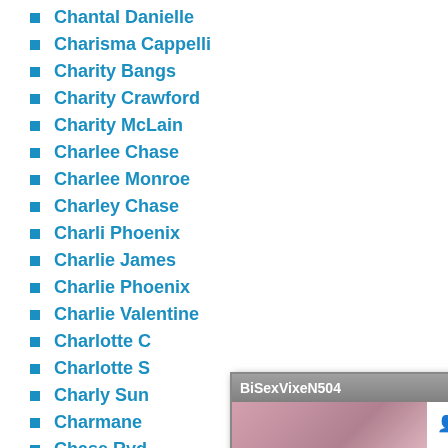Chantal Danielle
Charisma Cappelli
Charity Bangs
Charity Crawford
Charity McLain
Charlee Chase
Charlee Monroe
Charley Chase
Charli Phoenix
Charlie James
Charlie Phoenix
Charlie Valentine
Charlotte C...
Charlotte S...
Charly Sun...
Charmane ...
Chase Ryd...
Chastity Ly...
Chayse Eva...
Cherie DeV...
Cherry Hils...
[Figure (screenshot): Popup chat widget for BiSexVixeN504 showing photo, viewer count 630, time 2 hrs 8 mins, 26 viewers icon, Add Friend button, message text, input box, Join Live Chat and Send Message buttons]